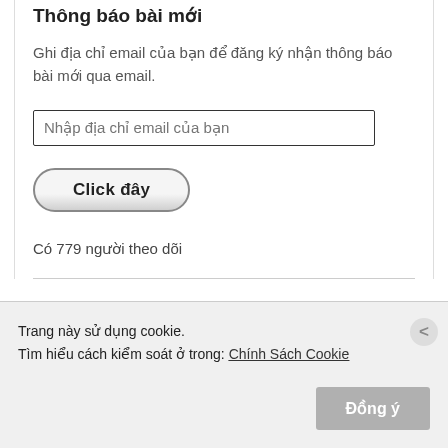Thông báo bài mới
Ghi địa chỉ email của bạn để đăng ký nhận thông báo bài mới qua email.
[Figure (screenshot): Email input field with placeholder text: Nhập địa chỉ email của bạn]
[Figure (screenshot): Button labeled: Click đây]
Có 779 người theo dõi
Trang này sử dụng cookie.
Tìm hiểu cách kiểm soát ở trong: Chính Sách Cookie
Đồng ý